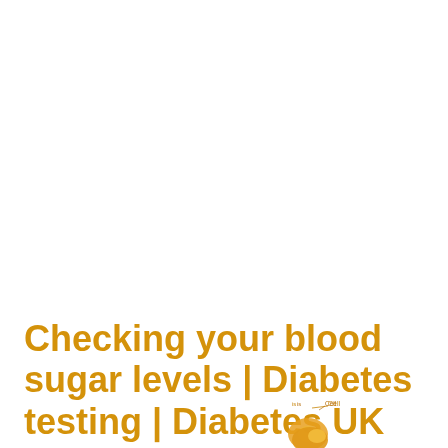Checking your blood sugar levels | Diabetes testing | Diabetes UK
[Figure (illustration): Partial view of two small medical/biological illustrations at the bottom of the page — left shows a cell diagram labeled 'Cell', right shows a cell diagram labeled 'Nucleus'. Both have orange/golden coloring. Images are cropped at the page edge.]